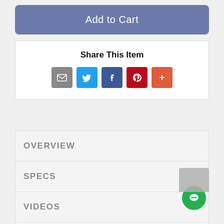Add to Cart
Share This Item
[Figure (other): Social share icons: Email, Twitter, Facebook, Pinterest, More]
OVERVIEW
SPECS
VIDEOS
DELIVERY
WARRANTY